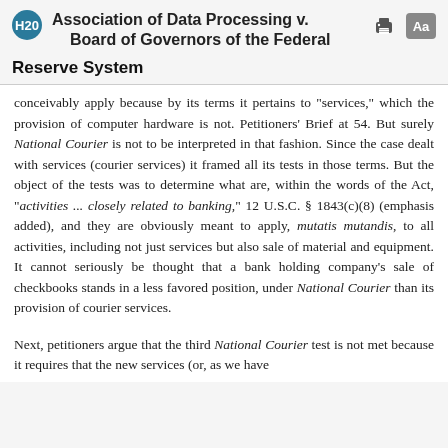H20 Association of Data Processing v. Board of Governors of the Federal Reserve System
conceivably apply because by its terms it pertains to "services," which the provision of computer hardware is not. Petitioners' Brief at 54. But surely National Courier is not to be interpreted in that fashion. Since the case dealt with services (courier services) it framed all its tests in those terms. But the object of the tests was to determine what are, within the words of the Act, "activities ... closely related to banking," 12 U.S.C. § 1843(c)(8) (emphasis added), and they are obviously meant to apply, mutatis mutandis, to all activities, including not just services but also sale of material and equipment. It cannot seriously be thought that a bank holding company's sale of checkbooks stands in a less favored position, under National Courier than its provision of courier services.
Next, petitioners argue that the third National Courier test is not met because it requires that the new services (or, as we have